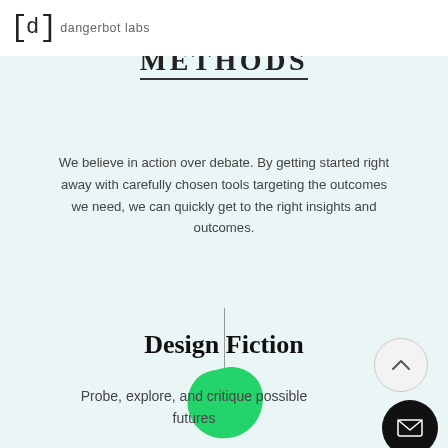dangerbot labs
test & learn METHODS
We believe in action over debate. By getting started right away with carefully chosen tools targeting the outcomes we need, we can quickly get to the right insights and outcomes.
[Figure (illustration): Green organic blob shape icon]
Design Fiction
Probe, explore, and critique possible futures